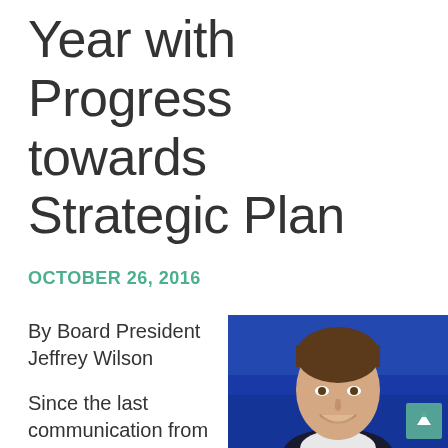Year with Progress towards Strategic Plan
OCTOBER 26, 2016
By Board President Jeffrey Wilson
Since the last communication from my predecessor Cindy Mitchell Dinsmore
[Figure (photo): Professional headshot of Board President Jeffrey Wilson, a man in a dark suit smiling, with a blue background]